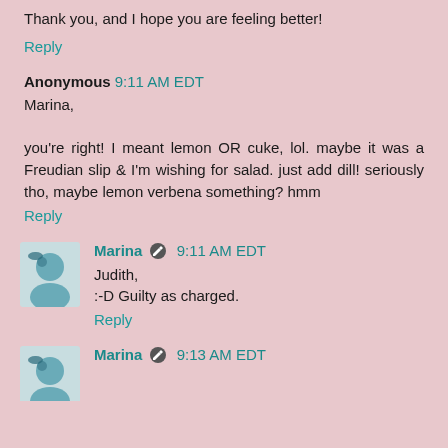Thank you, and I hope you are feeling better!
Reply
Anonymous 9:11 AM EDT
Marina,

you're right! I meant lemon OR cuke, lol. maybe it was a Freudian slip & I'm wishing for salad. just add dill! seriously tho, maybe lemon verbena something? hmm
Reply
Marina 9:11 AM EDT
Judith,
:-D Guilty as charged.
Reply
Marina 9:13 AM EDT